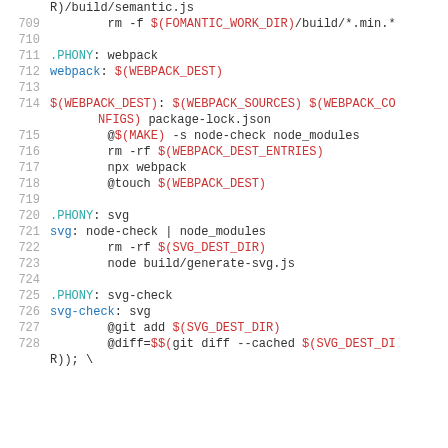Makefile source code lines 709-728
R)/build/semantic.js
709    rm -f $(FOMANTIC_WORK_DIR)/build/*.min.*
710
711    .PHONY: webpack
712    webpack: $(WEBPACK_DEST)
713
714    $(WEBPACK_DEST): $(WEBPACK_SOURCES) $(WEBPACK_CONFIGS) package-lock.json
715        @$(MAKE) -s node-check node_modules
716        rm -rf $(WEBPACK_DEST_ENTRIES)
717        npx webpack
718        @touch $(WEBPACK_DEST)
719
720    .PHONY: svg
721    svg: node-check | node_modules
722        rm -rf $(SVG_DEST_DIR)
723        node build/generate-svg.js
724
725    .PHONY: svg-check
726    svg-check: svg
727        @git add $(SVG_DEST_DIR)
728        @diff=$(git diff --cached $(SVG_DEST_DIR)); \